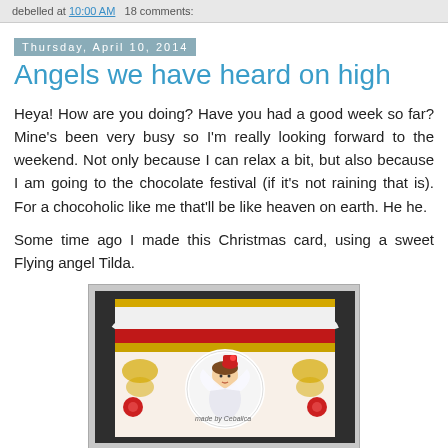debelled at 10:00 AM   18 comments:
Thursday, April 10, 2014
Angels we have heard on high
Heya! How are you doing? Have you had a good week so far? Mine's been very busy so I'm really looking forward to the weekend. Not only because I can relax a bit, but also because I am going to the chocolate festival (if it's not raining that is). For a chocoholic like me that'll be like heaven on earth. He he.
Some time ago I made this Christmas card, using a sweet Flying angel Tilda.
[Figure (photo): A handmade Christmas card featuring a Flying Angel Tilda stamp, with red and gold decorative elements, scalloped white border, and a circular frame around the stamped image.]